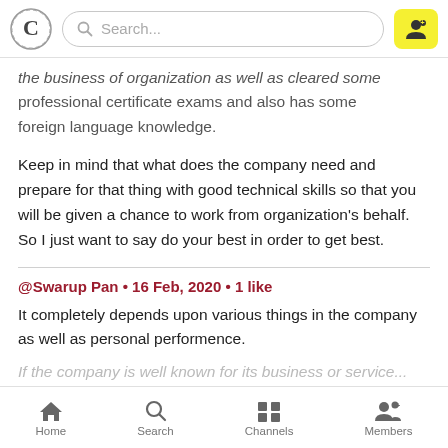Search...
the business of organization as well as cleared some professional certificate exams and also has some foreign language knowledge.
Keep in mind that what does the company need and prepare for that thing with good technical skills so that you will be given a chance to work from organization's behalf. So I just want to say do your best in order to get best.
@Swarup Pan • 16 Feb, 2020 • 1 like
It completely depends upon various things in the company as well as personal performence.
If the company is well known for its business or service...
Home  Search  Channels  Members